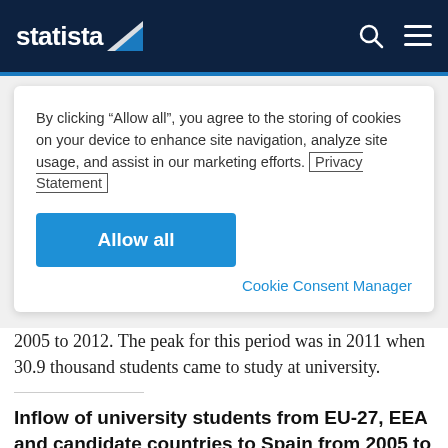statista
By clicking “Allow all”, you agree to the storing of cookies on your device to enhance site navigation, analyze site usage, and assist in our marketing efforts. Privacy Statement
Allow all
Cookie Consent Manager
2005 to 2012. The peak for this period was in 2011 when 30.9 thousand students came to study at university.
Inflow of university students from EU-27, EEA and candidate countries to Spain from 2005 to 2012